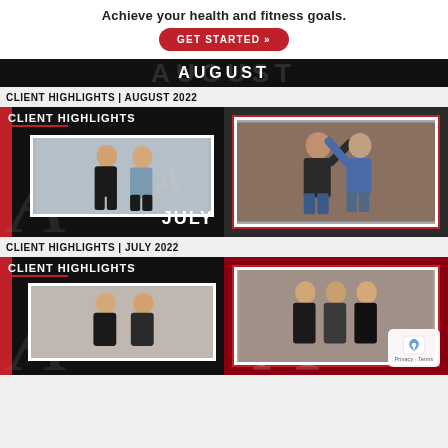Achieve your health and fitness goals.
GET STARTED »
[Figure (photo): August 2022 fitness client highlights banner strip with large AUGUST text on dark background]
CLIENT HIGHLIGHTS | AUGUST 2022
[Figure (photo): August 2022 client highlights composite: left panel shows two people posing in front of a gym logo with 'Client Highlights' text; right panel shows two people celebrating flexing arms]
CLIENT HIGHLIGHTS | JULY 2022
[Figure (photo): July 2022 client highlights composite: left panel shows 'Client Highlights' text with a photo of two women; right panel shows group of people posing at the gym]